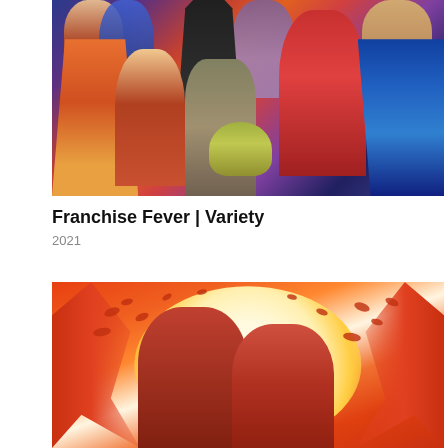[Figure (illustration): Comic book style illustration showing multiple science fiction and superhero characters including Ahsoka Tano, Captain Picard, Batman, The Mandalorian with Grogu (Baby Yoda), Scarlet Witch, Cyclops, and others, set against a colorful background.]
Franchise Fever | Variety
2021
[Figure (illustration): Comic book style illustration featuring two female figures with reddish-brown hair against a vibrant orange and red background with a large white/yellow sun circle, birds, and flame-like elements on the sides.]